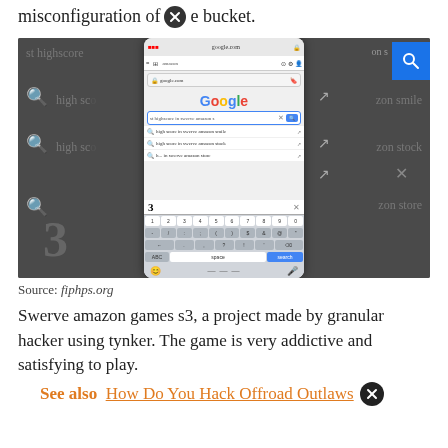misconfiguration of [X] e bucket.
[Figure (screenshot): Screenshot of a mobile phone showing Google search for 'st highscore in swerve amazon s3' with keyboard visible, overlaid on a dark game UI background showing search results and the number 3]
Source: fiphps.org
Swerve amazon games s3, a project made by granular hacker using tynker. The game is very addictive and satisfying to play.
See also  How Do You Hack Offroad Outlaws